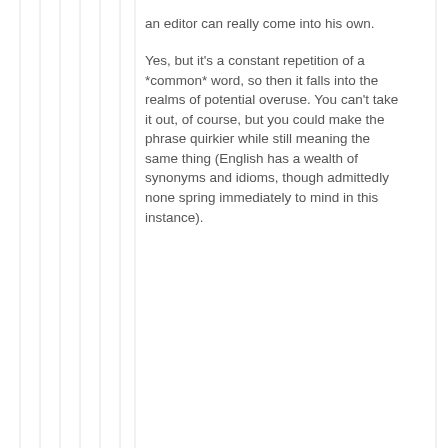an editor can really come into his own.

Yes, but it's a constant repetition of a *common* word, so then it falls into the realms of potential overuse. You can't take it out, of course, but you could make the phrase quirkier while still meaning the same thing (English has a wealth of synonyms and idioms, though admittedly none spring immediately to mind in this instance).